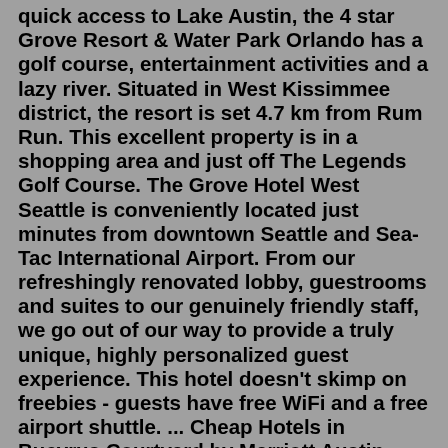quick access to Lake Austin, the 4 star Grove Resort & Water Park Orlando has a golf course, entertainment activities and a lazy river. Situated in West Kissimmee district, the resort is set 4.7 km from Rum Run. This excellent property is in a shopping area and just off The Legends Golf Course. The Grove Hotel West Seattle is conveniently located just minutes from downtown Seattle and Sea-Tac International Airport. From our refreshingly renovated lobby, guestrooms and suites to our genuinely friendly staff, we go out of our way to provide a truly unique, highly personalized guest experience. This hotel doesn't skimp on freebies - guests have free WiFi and a free airport shuttle. ... Cheap Hotels in Bucyrus Courtyard by Marriott Austin Northwest/Lakeline Augusta Marriott at the Convention Center Cheap Hotels in Spring Grove Grand Hotel des Bains Kempinski DoubleTree by Hilton Mahwah Clontarf Castle Hotel Drury Plaza Hotel San ...The Grove Hotel West Seattle is conveniently located just minutes from downtown